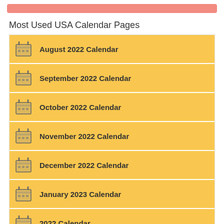Most Used USA Calendar Pages
August 2022 Calendar
September 2022 Calendar
October 2022 Calendar
November 2022 Calendar
December 2022 Calendar
January 2023 Calendar
2022 Calendar
2023 Calendar
2024 Calendar
USA Holidays